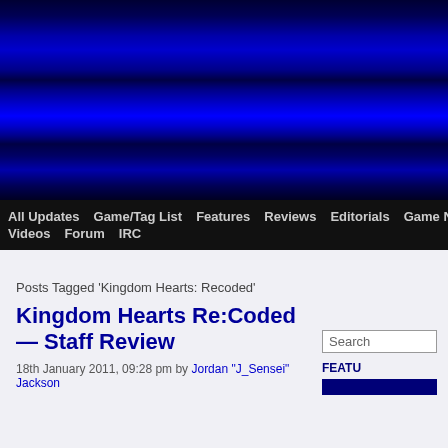[Figure (other): Dark blue banner header with horizontal scan-line gradient stripes pattern in deep blue tones]
All Updates | Game/Tag List | Features | Reviews | Editorials | Game News | Ga... | Videos | Forum | IRC
Posts Tagged 'Kingdom Hearts: Recoded'
Kingdom Hearts Re:Coded — Staff Review
18th January 2011, 09:28 pm by Jordan "J_Sensei" Jackson